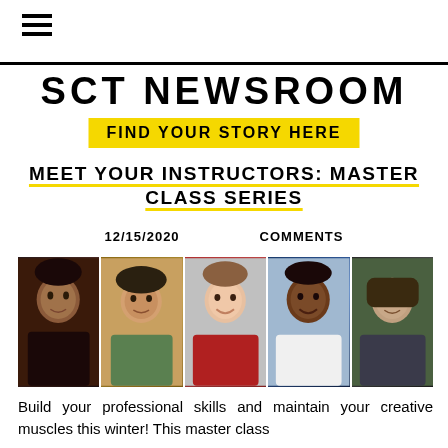≡
SCT NEWSROOM
FIND YOUR STORY HERE
MEET YOUR INSTRUCTORS: MASTER CLASS SERIES
12/15/2020    COMMENTS
[Figure (photo): Five headshot photos of instructors side by side: a Black woman with natural hair, a person with a beret and glasses, a woman in red smiling, a Black man smiling in casual attire, and a man with long hair in a striped shirt.]
Build your professional skills and maintain your creative muscles this winter! This master class